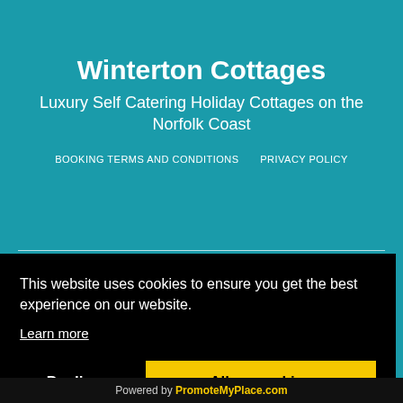Winterton Cottages
Luxury Self Catering Holiday Cottages on the Norfolk Coast
BOOKING TERMS AND CONDITIONS   PRIVACY POLICY
This website uses cookies to ensure you get the best experience on our website.
Learn more
Decline   Allow cookies
Powered by PromoteMyPlace.com